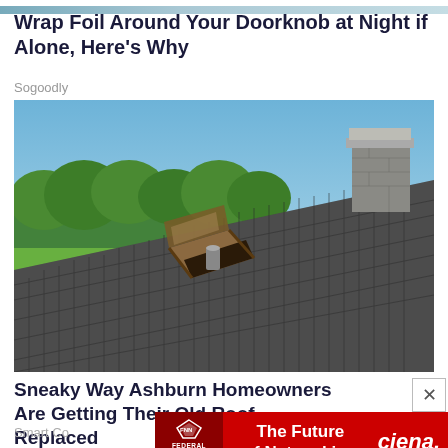[Figure (photo): Thin decorative image strip at very top of page]
Wrap Foil Around Your Doorknob at Night if Alone, Here's Why
Sogoodly
[Figure (photo): Photograph of a residential rooftop with gray asphalt shingles, an open skylight window with wooden frame, a chimney in the upper right, green trees and blue sky in the background.]
Sneaky Way Ashburn Homeowners Are Getting Their Old Roof Replaced
Smart Co
[Figure (infographic): Red advertisement banner for Ciena featuring Federal News Network logo on left, 'The Future of Networking' text in center, and 'ciena.' brand name on right. Has a close (x) button.]